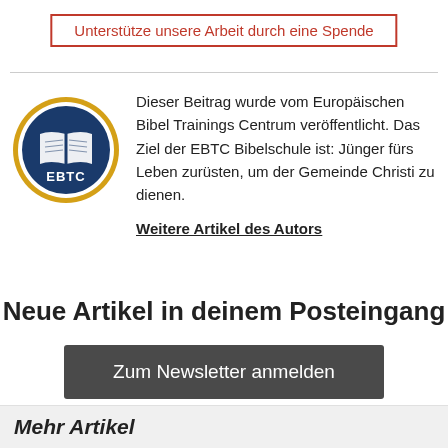Unterstütze unsere Arbeit durch eine Spende
[Figure (logo): EBTC logo: circular badge with dark blue background, open book icon and text 'EBTC', surrounded by a golden/yellow outer ring]
Dieser Beitrag wurde vom Europäischen Bibel Trainings Centrum veröffentlicht. Das Ziel der EBTC Bibelschule ist: Jünger fürs Leben zurüsten, um der Gemeinde Christi zu dienen.
Weitere Artikel des Autors
Neue Artikel in deinem Posteingang
Zum Newsletter anmelden
Mehr Artikel